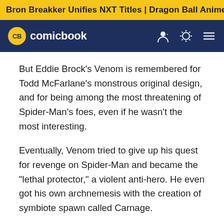Bron Breakker Unifies NXT Titles | Dragon Ball Anime Rumor
[Figure (logo): CB Comicbook logo with navigation icons on dark navy background]
But Eddie Brock's Venom is remembered for Todd McFarlane's monstrous original design, and for being among the most threatening of Spider-Man's foes, even if he wasn't the most interesting.
Eventually, Venom tried to give up his quest for revenge on Spider-Man and became the "lethal protector," a violent anti-hero. He even got his own archnemesis with the creation of symbiote spawn called Carnage.
Eventually, Brock gave up the Venom symbiote, but he couldn't stay out of the game forever, and returned as Anti-